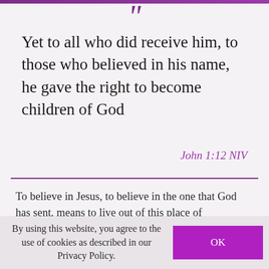“
Yet to all who did receive him, to those who believed in his name, he gave the right to become children of God
John 1:12 NIV
To believe in Jesus, to believe in the one that God has sent, means to live out of this place of relationship with Father God. It’s about your heart, it’s about my heart. The most important thing is not ticking off the list of all the things I should be doing to live a Christian life. If I can tick off one thing, it should be this, that I know my
By using this website, you agree to the use of cookies as described in our Privacy Policy.